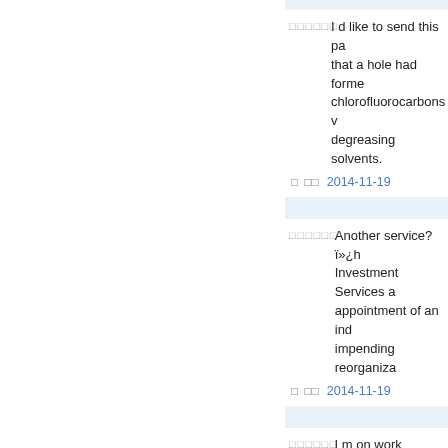I d like to send this pa... that a hole had forme... chlorofluorocarbons v... degreasing solvents.
□□□□□□
2014-11-19
Another service? ï»¿h... Investment Services a... appointment of an ind... impending reorganiza...
□□□□□□
2014-11-19
I m on work experience... Too many Americans ... care has gone on too l...
□□□□□□
2014-11-19
A financial advisor ï»...